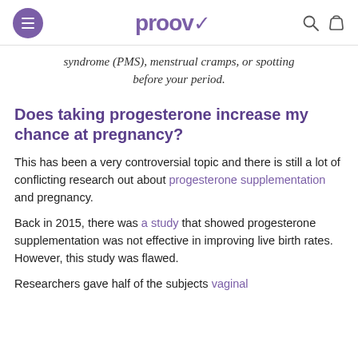proov
syndrome (PMS), menstrual cramps, or spotting before your period.
Does taking progesterone increase my chance at pregnancy?
This has been a very controversial topic and there is still a lot of conflicting research out about progesterone supplementation and pregnancy.
Back in 2015, there was a study that showed progesterone supplementation was not effective in improving live birth rates. However, this study was flawed.
Researchers gave half of the subjects vaginal